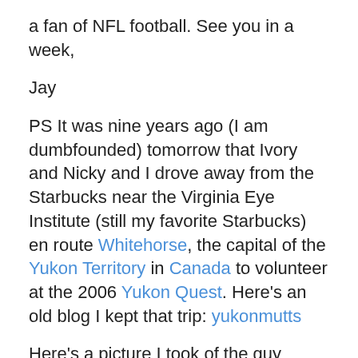a fan of NFL football. See you in a week,
Jay
PS It was nine years ago (I am dumbfounded) tomorrow that Ivory and Nicky and I drove away from the Starbucks near the Virginia Eye Institute (still my favorite Starbucks) en route Whitehorse, the capital of the Yukon Territory in Canada to volunteer at the 2006 Yukon Quest. Here’s an old blog I kept that trip: yukonmutts
Here’s a picture I took of the guy Mackey is named after; he won the Yukon Quest that year: Lance Mackey
I also spent a couple of days playing around with the dogs at Muktuk Kennel. It’s owned by 25 time (!) Yukon Quest finisher Frank Turner – and that’s who Turner is named after. Here’s a blog post from when I took a hike on a